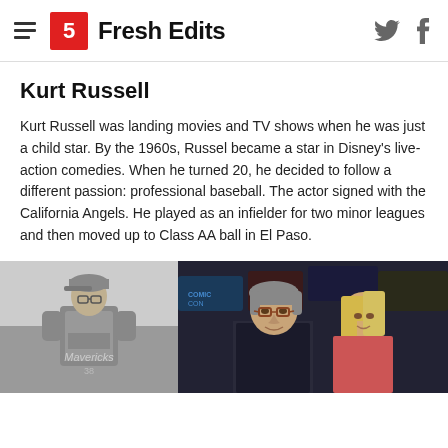Fresh Edits
Kurt Russell
Kurt Russell was landing movies and TV shows when he was just a child star. By the 1960s, Russel became a star in Disney's live-action comedies. When he turned 20, he decided to follow a different passion: professional baseball. The actor signed with the California Angels. He played as an infielder for two minor leagues and then moved up to Class AA ball in El Paso.
[Figure (photo): Black and white photo of young man in Mavericks baseball uniform]
[Figure (photo): Color photo of older man with gray hair wearing glasses alongside a blonde woman at what appears to be a red carpet event]